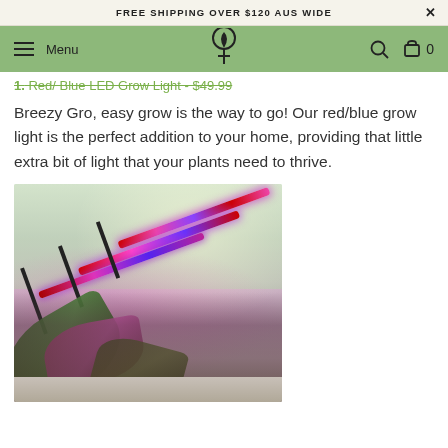FREE SHIPPING OVER $120 AUS WIDE
Menu [logo] 0
1. Red/ Blue LED Grow Light - $49.99
Breezy Gro, easy grow is the way to go! Our red/blue grow light is the perfect addition to your home, providing that little extra bit of light that your plants need to thrive.
[Figure (photo): Red/Blue LED grow light bars on adjustable gooseneck clamps near a window with plants below, illuminated with red and purple LED light]